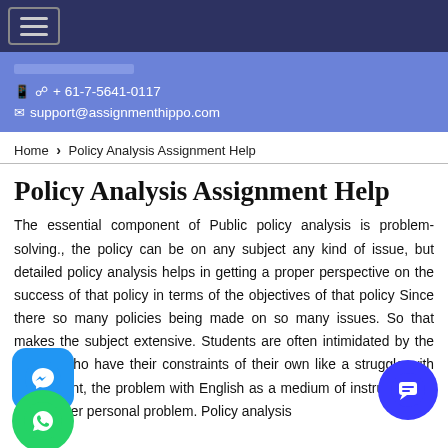hamburger menu button
+ 61-7-5641-0117 | support@assignmenthippo.com
Home > Policy Analysis Assignment Help
Policy Analysis Assignment Help
The essential component of Public policy analysis is problem-solving., the policy can be on any subject any kind of issue, but detailed policy analysis helps in getting a proper perspective on the success of that policy in terms of the objectives of that policy Since there so many policies being made on so many issues. So that makes the subject extensive. Students are often intimidated by the subject who have their constraints of their own like a struggle with the content, the problem with English as a medium of instruction, or some other personal problem. Policy analysis